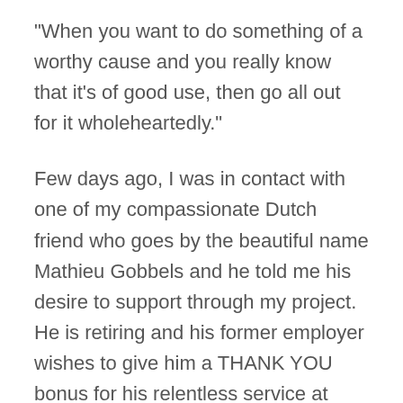“When you want to do something of a worthy cause and you really know that it’s of good use, then go all out for it wholeheartedly.”
Few days ago, I was in contact with one of my compassionate Dutch friend who goes by the beautiful name Mathieu Gobbels and he told me his desire to support through my project. He is retiring and his former employer wishes to give him a THANK YOU bonus for his relentless service at work, as it takes only a hardworking and dedicated person to be rewarded by the boss; thus it’s an